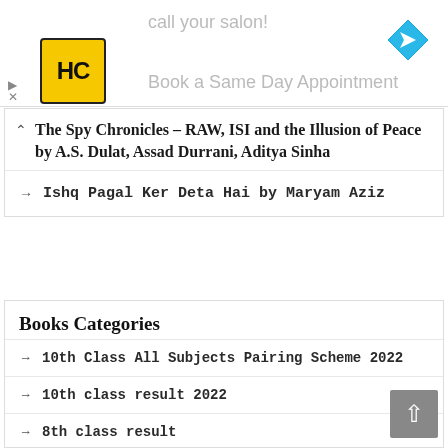[Figure (screenshot): Advertisement banner with HC logo (yellow square with black HC letters), text 'call your salon!' and 'Book a Same Day Appointment', and a blue navigation/directions icon on the right.]
The Spy Chronicles – RAW, ISI and the Illusion of Peace by A.S. Dulat, Assad Durrani, Aditya Sinha
Ishq Pagal Ker Deta Hai by Maryam Aziz
Books Categories
10th Class All Subjects Pairing Scheme 2022
10th class result 2022
8th class result